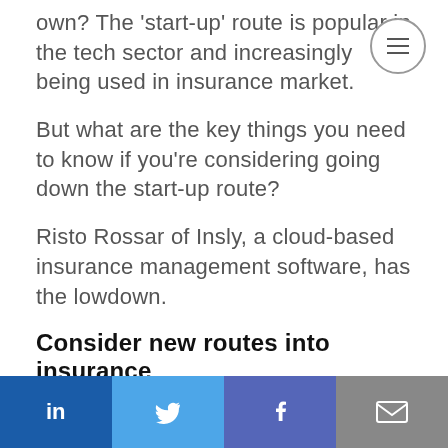own? The 'start-up' route is popular in the tech sector and increasingly being used in insurance market.
But what are the key things you need to know if you're considering going down the start-up route?
Risto Rossar of Insly, a cloud-based insurance management software, has the lowdown.
Consider new routes into insurance
LinkedIn | Twitter | Facebook | Email